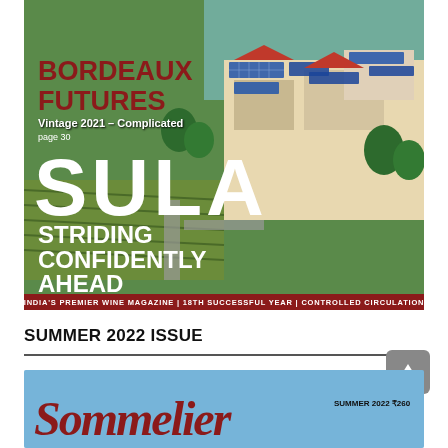[Figure (photo): Aerial view of a winery/estate with solar panels on rooftops, vineyard rows, lush greenery and buildings. Magazine cover image with overlaid text.]
SUMMER 2022 ISSUE
[Figure (photo): Bottom portion showing start of another magazine issue preview with blue background, cursive red script text and 'SUMMER 2022 ₹260' label.]